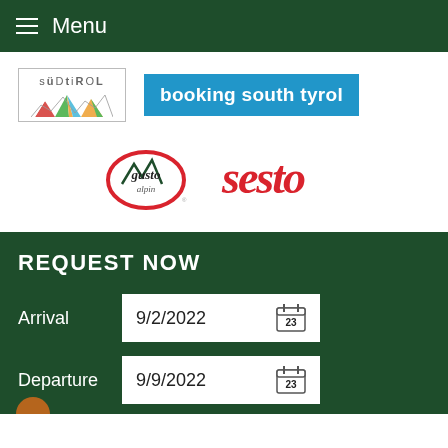Menu
[Figure (logo): Südtirol tourism logo with mountain graphic]
[Figure (logo): booking south tyrol blue badge logo]
[Figure (logo): Gusto alpin circular red logo]
[Figure (logo): Sesto red cursive logo]
REQUEST NOW
Arrival  9/2/2022
Departure  9/9/2022